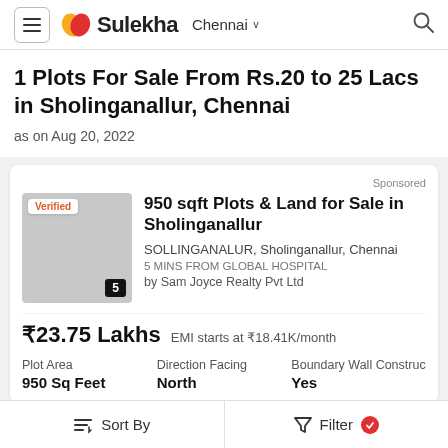Sulekha — Chennai
1 Plots For Sale From Rs.20 to 25 Lacs in Sholinganallur, Chennai
as on Aug 20, 2022
[Figure (screenshot): Property listing card with placeholder image, verified badge, and number 5]
950 sqft Plots & Land for Sale in Sholinganallur
SOLLINGANALUR, Sholinganallur, Chennai
5 MINS FROM GLOBAL HOSPITAL
by Sam Joyce Realty Pvt Ltd
₹23.75 Lakhs  EMI starts at ₹18.41K/month
Plot Area: 950 Sq Feet | Direction Facing: North | Boundary Wall Construction: Yes
Sort By   Filter